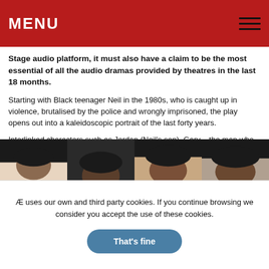MENU
Stage audio platform, it must also have a claim to be the most essential of all the audio dramas provided by theatres in the last 18 months.
Starting with Black teenager Neil in the 1980s, who is caught up in violence, brutalised by the police and wrongly imprisoned, the play opens out into a kaleidoscopic portrait of the last forty years.
Interlinked characters such as Jordan (Neil's son), Gary – the man who brings Jordan up and whose desire to be more British than the British leads him to the Young Conservatives – and Gary's angrily wayward sister Gwen, lead to an ever-shifting, compelling picture.
[Figure (photo): A horizontal strip of four portrait photographs showing people's faces, cropped at the top of the frame.]
Æ uses our own and third party cookies. If you continue browsing we consider you accept the use of these cookies.